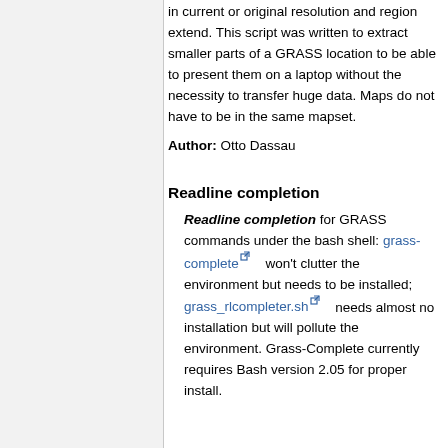in current or original resolution and region extend. This script was written to extract smaller parts of a GRASS location to be able to present them on a laptop without the necessity to transfer huge data. Maps do not have to be in the same mapset.
Author: Otto Dassau
Readline completion
Readline completion for GRASS commands under the bash shell: grass-complete won't clutter the environment but needs to be installed; grass_rlcompleter.sh needs almost no installation but will pollute the environment. Grass-Complete currently requires Bash version 2.05 for proper install.